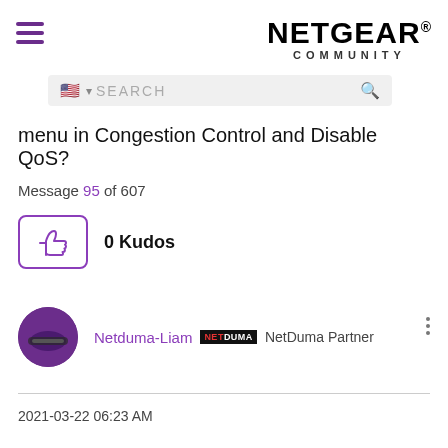NETGEAR® COMMUNITY
SEARCH
menu in Congestion Control and Disable QoS?
Message 95 of 607
0 Kudos
Netduma-Liam NETDUMA NetDuma Partner
2021-03-22 06:23 AM